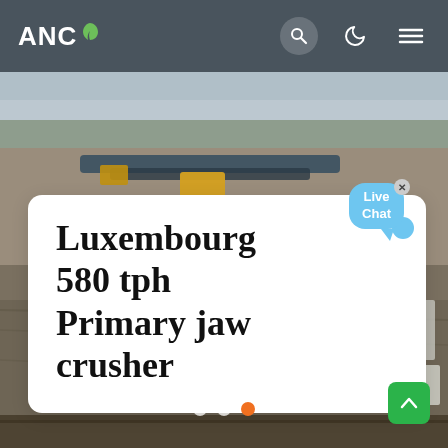[Figure (photo): Aerial view of an industrial mining/quarry site with conveyor belts, machinery, earthworks, and processing equipment on a hazy day]
ANC — navigation with search, dark mode, and menu icons
Luxembourg 580 tph Primary jaw crusher